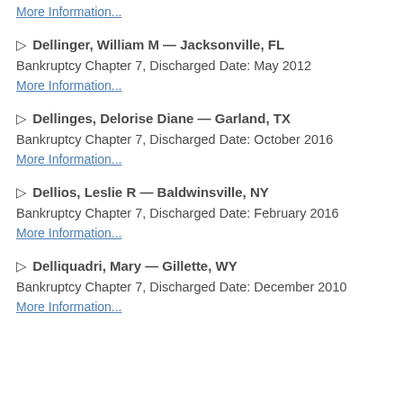More Information...
▷ Dellinger, William M — Jacksonville, FL
Bankruptcy Chapter 7, Discharged Date: May 2012
More Information...
▷ Dellinges, Delorise Diane — Garland, TX
Bankruptcy Chapter 7, Discharged Date: October 2016
More Information...
▷ Dellios, Leslie R — Baldwinsville, NY
Bankruptcy Chapter 7, Discharged Date: February 2016
More Information...
▷ Delliquadri, Mary — Gillette, WY
Bankruptcy Chapter 7, Discharged Date: December 2010
More Information...